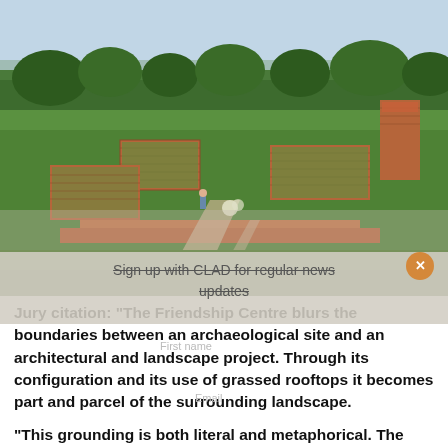[Figure (photo): Aerial/elevated view of the Friendship Centre in Bangladesh — a complex of low brick buildings with green grassed rooftops arranged in a geometric quadrilateral layout, surrounded by open lawns and trees in the background under a blue sky.]
Sign up with CLAD for regular news updates
Jury citation: “The Friendship Centre blurs the boundaries between an archaeological site and an architectural and landscape project. Through its configuration and its use of grassed rooftops it becomes part and parcel of the surrounding landscape.

"This grounding is both literal and metaphorical. The quadrilateral layout and the skilful brickwork reflect continuity with local architectural traditions."